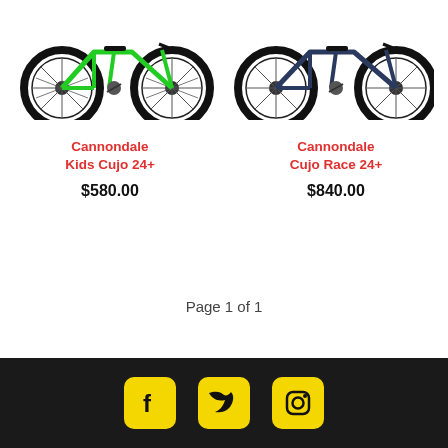[Figure (photo): Green Cannondale Kids Cujo 24+ mountain bike, cropped at top]
[Figure (photo): Dark blue Cannondale Cujo Race 24+ mountain bike, cropped at top]
Cannondale Kids Cujo 24+
$580.00
Cannondale Cujo Race 24+
$840.00
Page 1 of 1
[Figure (logo): Facebook, Twitter, Instagram social media icons in yellow on dark footer bar]